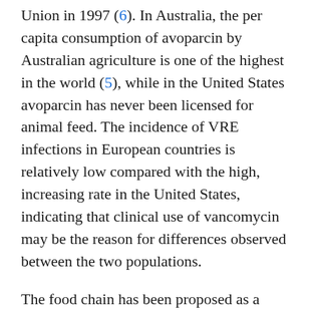Union in 1997 (6). In Australia, the per capita consumption of avoparcin by Australian agriculture is one of the highest in the world (5), while in the United States avoparcin has never been licensed for animal feed. The incidence of VRE infections in European countries is relatively low compared with the high, increasing rate in the United States, indicating that clinical use of vancomycin may be the reason for differences observed between the two populations.
The food chain has been proposed as a suspected source for dissemination of VRE to the human population (6). Should this be the case, one possible source is plants that produce ready-to-eat foods. Enterococci can be found in the environment of food-processing facilities, including those producing ready-to-eat meat and poultry products, but the incidence of vancomycin resistance among enterococci from